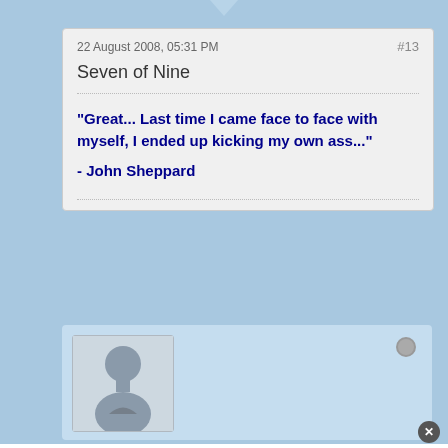22 August 2008, 05:31 PM
#13
Seven of Nine
"Great... Last time I came face to face with myself, I ended up kicking my own ass..."
- John Sheppard
[Figure (photo): Default user avatar showing a gray silhouette of a person on a light gray background]